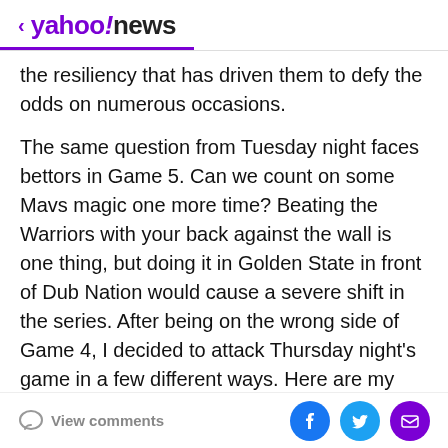< yahoo!news
the resiliency that has driven them to defy the odds on numerous occasions.
The same question from Tuesday night faces bettors in Game 5. Can we count on some Mavs magic one more time? Beating the Warriors with your back against the wall is one thing, but doing it in Golden State in front of Dub Nation would cause a severe shift in the series. After being on the wrong side of Game 4, I decided to attack Thursday night's game in a few different ways. Here are my three favorite bets for Game 5.
[Figure (photo): Dark basketball arena photo showing a basketball hoop and players in the background with crowd]
View comments | Share on Facebook | Share on Twitter | Share via Email